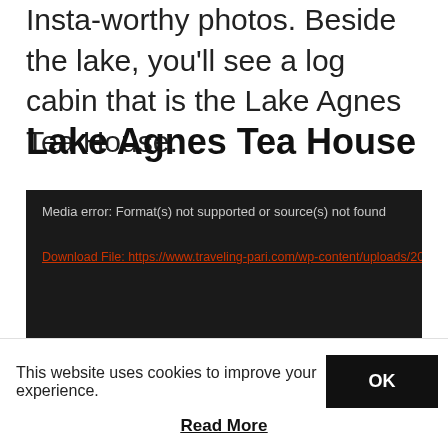Insta-worthy photos. Beside the lake, you'll see a log cabin that is the Lake Agnes Tea House.
Lake Agnes Tea House
[Figure (screenshot): A dark media player error box showing: 'Media error: Format(s) not supported or source(s) not found' and a red download link: 'Download File: https://www.traveling-pari.com/wp-content/uploads/2017/11...']
This website uses cookies to improve your experience.
Read More